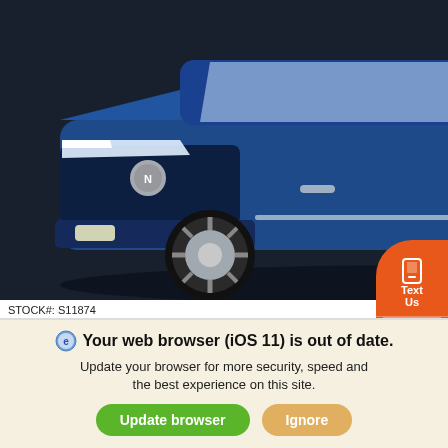[Figure (photo): Front three-quarter view of a blue 2021 Nissan Rogue SUV on a dark background]
STOCK#: S11874    VIN: 5N1AT3BB0MC
New 2021 Nissan Rogue All Wheel Drive
SV Sport Utility 4WD Sport Utility Vehicles
MSRP
Call For Price
*First Name
*Last Name
Your web browser (iOS 11) is out of date.
Update your browser for more security, speed and the best experience on this site.
Update browser
Ignore